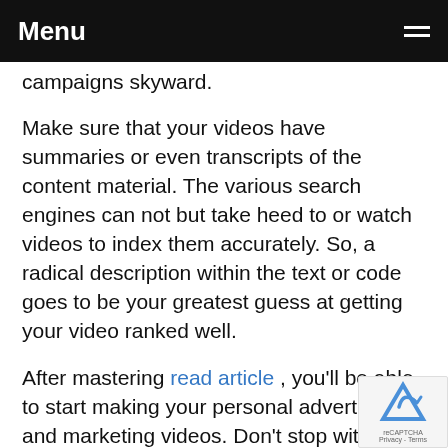Menu
campaigns skyward.
Make sure that your videos have summaries or even transcripts of the content material. The various search engines can not but take heed to or watch videos to index them accurately. So, a radical description within the text or code goes to be your greatest guess at getting your video ranked well.
After mastering read article , you'll be able to start making your personal advertising and marketing videos. Don't stop with the following tips, nevertheless. There is a lot more to be taught in relation to video marketing. As you study increasingly,